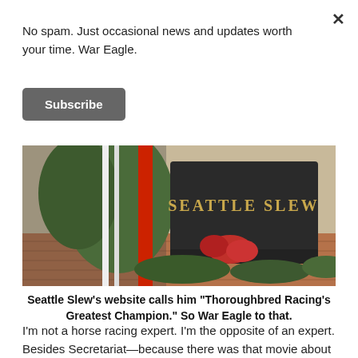No spam. Just occasional news and updates worth your time. War Eagle.
Subscribe
[Figure (photo): A dark granite memorial gravestone engraved with 'SEATTLE SLEW', decorated with red flowers and wreaths with red and white ribbons, set on a brick patio surrounded by greenery.]
Seattle Slew's website calls him "Thoroughbred Racing's Greatest Champion." So War Eagle to that.
I'm not a horse racing expert. I'm the opposite of an expert. Besides Secretariat—because there was that movie about him and everything—I know the names of three racehorses, current and former. And the only reason